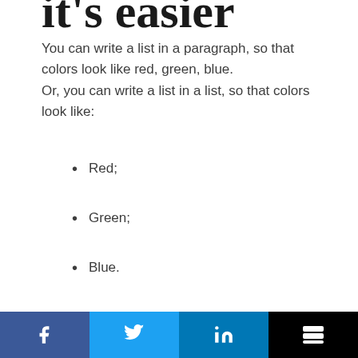You can write a list in a paragraph, so that colors look like red, green, blue.
Or, you can write a list in a list, so that colors look like:
Red;
Green;
Blue.
Your audience wants the latter.
8. They browse in E...